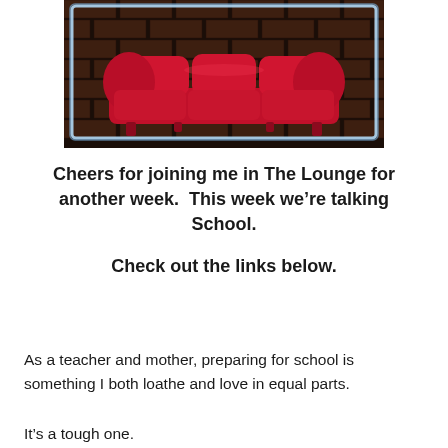[Figure (illustration): A red velvet couch/sofa against a dark brick wall background, framed with a glowing light blue/white border. The image appears to be a logo or banner for 'The Lounge'.]
Cheers for joining me in The Lounge for another week.  This week we're talking School.
Check out the links below.
As a teacher and mother, preparing for school is something I both loathe and love in equal parts.
It's a tough one.